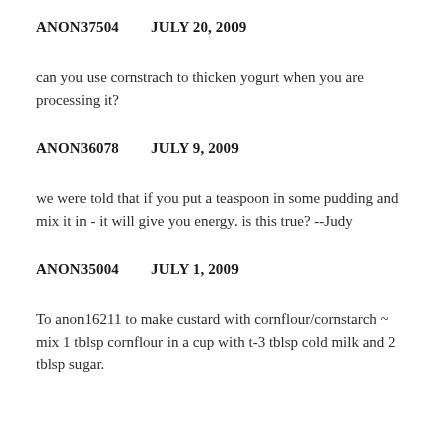ANON37504   JULY 20, 2009
can you use cornstrach to thicken yogurt when you are processing it?
ANON36078   JULY 9, 2009
we were told that if you put a teaspoon in some pudding and mix it in - it will give you energy. is this true? --Judy
ANON35004   JULY 1, 2009
To anon16211 to make custard with cornflour/cornstarch ~ mix 1 tblsp cornflour in a cup with t-3 tblsp cold milk and 2 tblsp sugar.